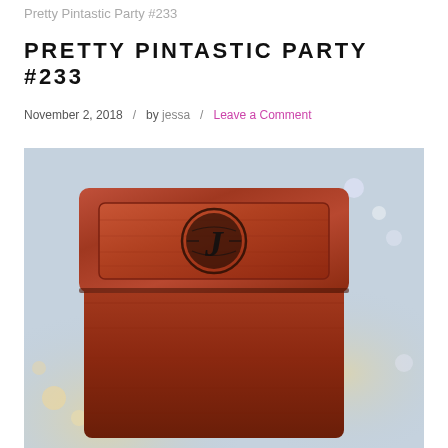Pretty Pintastic Party #233
PRETTY PINTASTIC PARTY #233
November 2, 2018  /  by jessa  /  Leave a Comment
[Figure (photo): Close-up photo of a dark reddish-brown wooden box with rounded corners, featuring an engraved monogram logo (letter J with decorative elements in a circular seal) on the lid. Bokeh lights visible in the blurred background.]